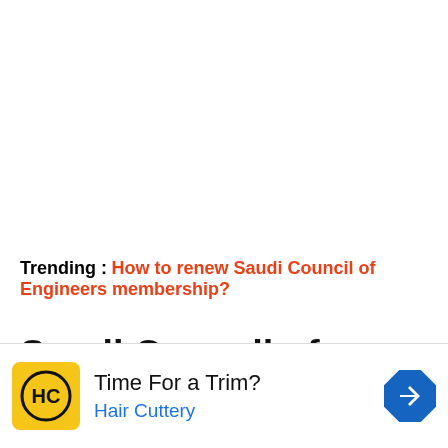Trending : How to renew Saudi Council of Engineers membership?
Saudi Council of Engineers
[Figure (other): Advertisement banner: HC Hair Cuttery logo (yellow square with HC initials), text 'Time For a Trim?' and 'Hair Cuttery', with a blue navigation arrow icon on the right]